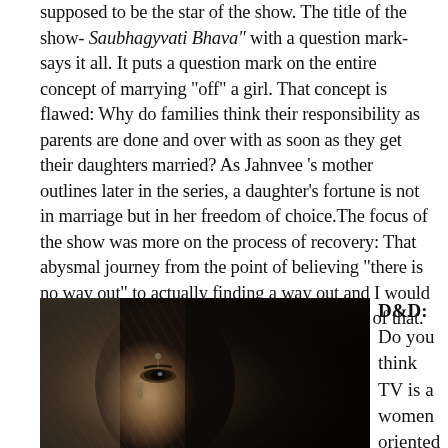supposed to be the star of the show. The title of the show- Saubhagyvati Bhava" with a question mark- says it all. It puts a question mark on the entire concept of marrying "off" a girl. That concept is flawed: Why do families think their responsibility as parents are done and over with as soon as they get their daughters married? As Jahnvee 's mother outlines later in the series, a daughter's fortune is not in marriage but in her freedom of choice.The focus of the show was more on the process of recovery: That abysmal journey from the point of believing "there is no way out" to actually finding a way out and I would like to believe people responded to it because of that.
[Figure (photo): Black and white / sepia photograph of a woman wearing an ornate traditional veil and jewelry (maang tikka/earrings), her face partially covered, showing only her eyes and upper face against a dark background.]
D&D: Do you think TV is a women oriented industry.